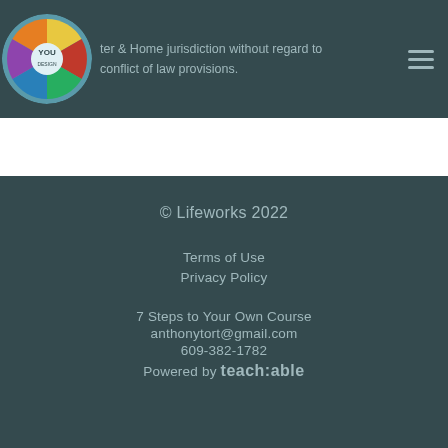ter & Home jurisdiction without regard to conflict of law provisions.
© Lifeworks 2022
Terms of Use
Privacy Policy
7 Steps to Your Own Course
anthonytort@gmail.com
609-382-1782
Powered by teach:able